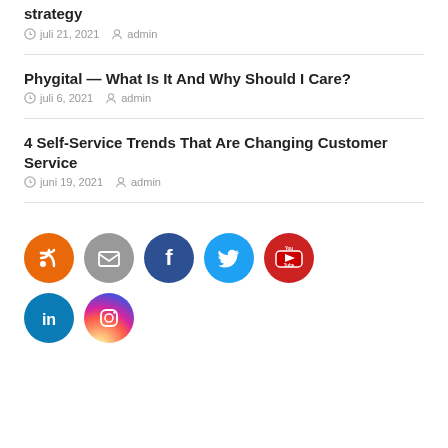strategy
juli 21, 2021  admin
Phygital — What Is It And Why Should I Care?
juli 6, 2021  admin
4 Self-Service Trends That Are Changing Customer Service
juni 19, 2021  admin
[Figure (infographic): Social media icon circles: RSS (orange), Follow/Email (gray), Facebook (dark blue), Twitter (light blue), YouTube (red), LinkedIn (blue), Instagram (gradient)]